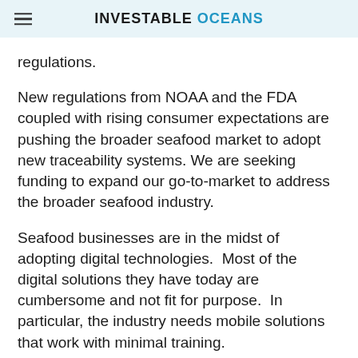INVESTABLE OCEANS
regulations.
New regulations from NOAA and the FDA coupled with rising consumer expectations are pushing the broader seafood market to adopt new traceability systems. We are seeking funding to expand our go-to-market to address the broader seafood industry.
Seafood businesses are in the midst of adopting digital technologies.  Most of the digital solutions they have today are cumbersome and not fit for purpose.  In particular, the industry needs mobile solutions that work with minimal training.
Seafood is one of most common vectors of foodborne illness, yet regulators find the source of an outbreak less than 50% of the time. Consumers